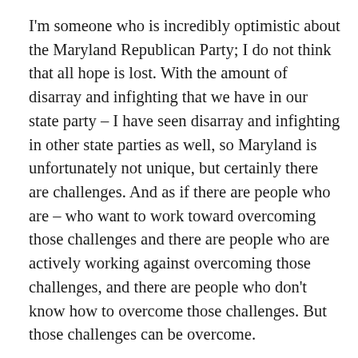I'm someone who is incredibly optimistic about the Maryland Republican Party; I do not think that all hope is lost. With the amount of disarray and infighting that we have in our state party – I have seen disarray and infighting in other state parties as well, so Maryland is unfortunately not unique, but certainly there are challenges. And as if there are people who are – who want to work toward overcoming those challenges and there are people who are actively working against overcoming those challenges, and there are people who don't know how to overcome those challenges. But those challenges can be overcome.